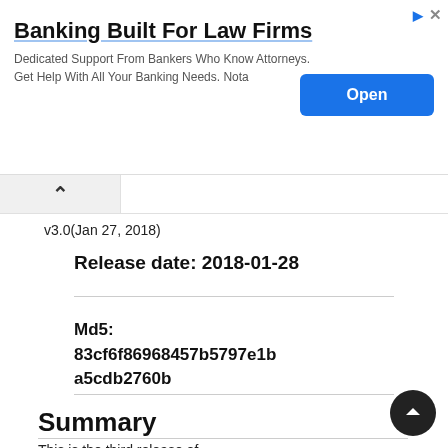[Figure (other): Advertisement banner: 'Banking Built For Law Firms' with subtitle 'Dedicated Support From Bankers Who Know Attorneys. Get Help With All Your Banking Needs. Nota' and an Open button]
v3.0(Jan 27, 2018)
Release date: 2018-01-28
Md5: 83cf6f86968457b5797e1ba5cdb2760b
Summary
This is the third release of...